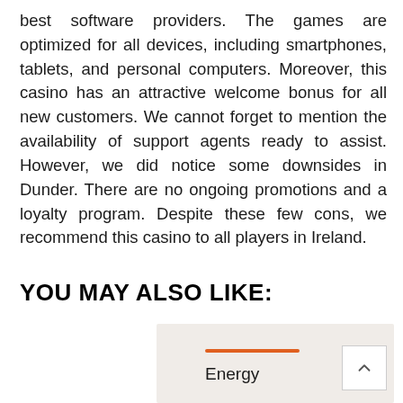best software providers. The games are optimized for all devices, including smartphones, tablets, and personal computers. Moreover, this casino has an attractive welcome bonus for all new customers. We cannot forget to mention the availability of support agents ready to assist. However, we did notice some downsides in Dunder. There are no ongoing promotions and a loyalty program. Despite these few cons, we recommend this casino to all players in Ireland.
YOU MAY ALSO LIKE:
[Figure (other): A card UI element with an orange horizontal line accent and the label 'Energy']